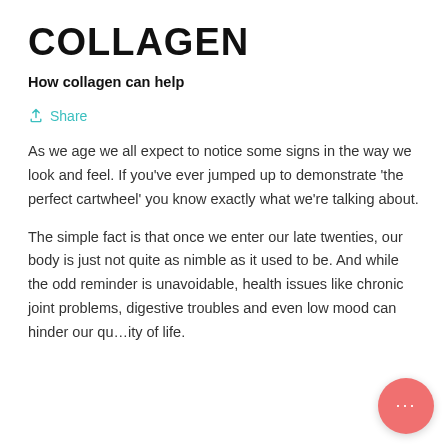COLLAGEN
How collagen can help
Share
As we age we all expect to notice some signs in the way we look and feel. If you've ever jumped up to demonstrate 'the perfect cartwheel' you know exactly what we're talking about.
The simple fact is that once we enter our late twenties, our body is just not quite as nimble as it used to be. And while the odd reminder is unavoidable, health issues like chronic joint problems, digestive troubles and even low mood can hinder our quality of life.